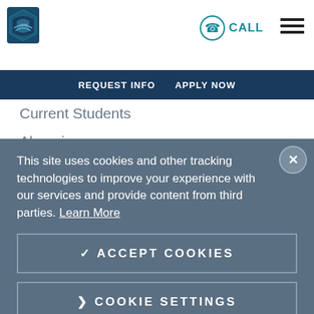[Figure (logo): University shield/crest logo in blue and green]
CALL  [hamburger menu icon]
REQUEST INFO  APPLY NOW
Current Students
Alumni
Title IV
This site uses cookies and other tracking technologies to improve your experience with our services and provide content from third parties. Learn More
✓ ACCEPT COOKIES
❯ COOKIE SETTINGS